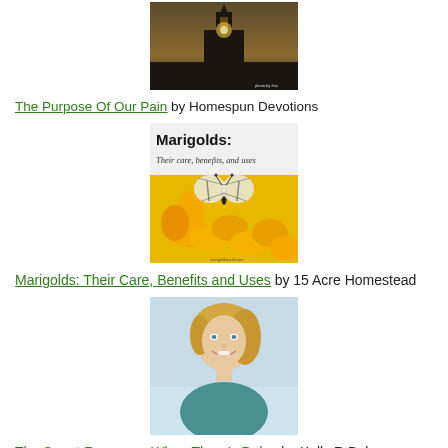[Figure (photo): Church silhouette against dramatic sky at dusk]
The Purpose Of Our Pain by Homespun Devotions
[Figure (photo): Marigolds: Their care, benefits, and uses — image with butterfly on yellow marigold flowers]
Marigolds: Their Care, Benefits and Uses by 15 Acre Homestead
[Figure (photo): Smiling blonde woman in teal shirt]
The Smart Response When There's Delay by Kelly R Baker